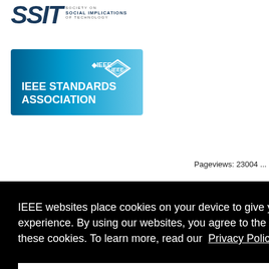[Figure (logo): SSIT Society on Social Implications of Technology logo with large italic letters SSIT and text beside]
[Figure (logo): IEEE Standards Association banner with blue gradient background and white IEEE diamond logo]
Pageviews: 23004
IEEE websites place cookies on your device to give you the best user experience. By using our websites, you agree to the placement of these cookies. To learn more, read our Privacy Policy.
Accept & Close
t of humanity.